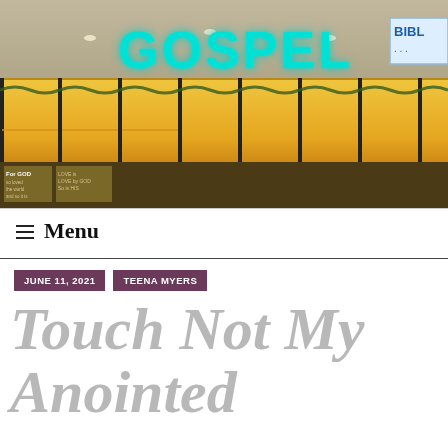[Figure (photo): Photo of a Gospel Bible bookstore storefront in a mall, with large illuminated cyan GOSPEL sign and warm golden lit windows with garland decorations. A partial BIBL sign is visible on the right.]
≡ Menu
JUNE 11, 2021    TEENA MYERS
Touch Not My Anointed